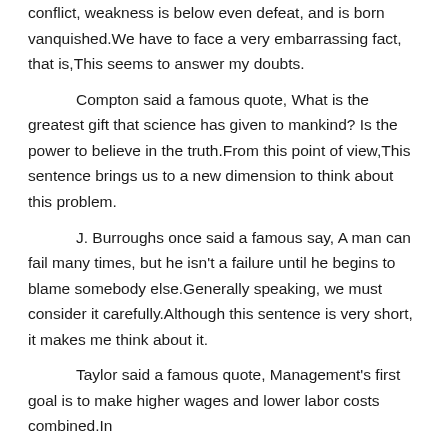Swetchine said a famous quote, Strength alone knows conflict, weakness is below even defeat, and is born vanquished.We have to face a very embarrassing fact, that is,This seems to answer my doubts.
Compton said a famous quote, What is the greatest gift that science has given to mankind? Is the power to believe in the truth.From this point of view,This sentence brings us to a new dimension to think about this problem.
J. Burroughs once said a famous say, A man can fail many times, but he isn't a failure until he begins to blame somebody else.Generally speaking, we must consider it carefully.Although this sentence is very short, it makes me think about it.
Taylor said a famous quote, Management's first goal is to make higher wages and lower labor costs combined.In